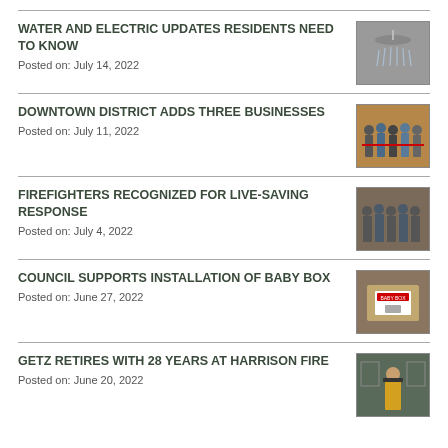WATER AND ELECTRIC UPDATES RESIDENTS NEED TO KNOW
Posted on: July 14, 2022
[Figure (photo): Photo of a shower head with water running]
DOWNTOWN DISTRICT ADDS THREE BUSINESSES
Posted on: July 11, 2022
[Figure (photo): Photo of people at a ribbon cutting ceremony]
FIREFIGHTERS RECOGNIZED FOR LIVE-SAVING RESPONSE
Posted on: July 4, 2022
[Figure (photo): Photo of firefighters standing together indoors]
COUNCIL SUPPORTS INSTALLATION OF BABY BOX
Posted on: June 27, 2022
[Figure (photo): Photo of a baby box installation on a wall]
GETZ RETIRES WITH 28 YEARS AT HARRISON FIRE
Posted on: June 20, 2022
[Figure (photo): Photo of a firefighter in uniform standing indoors]